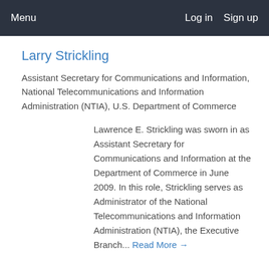Menu   Log in   Sign up
Larry Strickling
Assistant Secretary for Communications and Information, National Telecommunications and Information Administration (NTIA), U.S. Department of Commerce
Lawrence E. Strickling was sworn in as Assistant Secretary for Communications and Information at the Department of Commerce in June 2009. In this role, Strickling serves as Administrator of the National Telecommunications and Information Administration (NTIA), the Executive Branch... Read More →